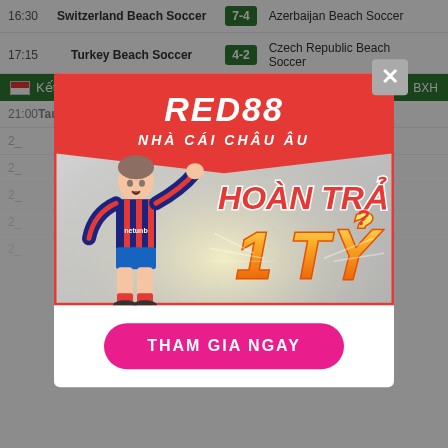| Time | Home Team | Score | Away Team |
| --- | --- | --- | --- |
| 16:30 | Switzerland Beach Soccer | 7-4 | Azerbaijan Beach Soccer |
| 17:15 | Turkey Beach Soccer | 4-2 | Czech Republic Beach Soccer |
Kết quả bóng đá hạng 5 phía Nam Anh   Lich  KQ  BXH
| Time | Home Team | Score | Away Team |
| --- | --- | --- | --- |
| 21:00 | Taunton Town | 2-1 | Chippenham Town |
[Figure (photo): RED88 NHÀ CÁI CHÂU ÂU advertisement banner featuring a soccer player, with text HOÀN TRẢ 1 TỶ (cashback 1 billion) and a THAM GIA NGAY (join now) button]
THAM GIA NGAY